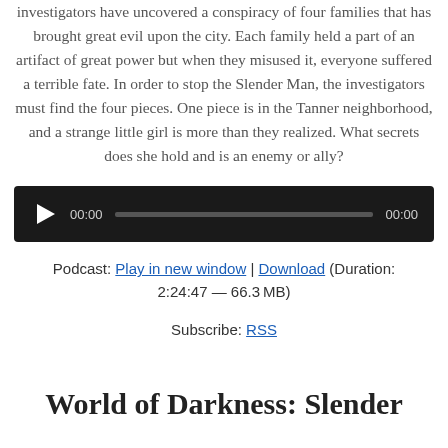investigators have uncovered a conspiracy of four families that has brought great evil upon the city. Each family held a part of an artifact of great power but when they misused it, everyone suffered a terrible fate. In order to stop the Slender Man, the investigators must find the four pieces. One piece is in the Tanner neighborhood, and a strange little girl is more than they realized. What secrets does she hold and is an enemy or ally?
[Figure (other): Audio player widget with play button, time display 00:00, progress bar, and end time 00:00 on dark background]
Podcast: Play in new window | Download (Duration: 2:24:47 — 66.3 MB)
Subscribe: RSS
World of Darkness: Slender